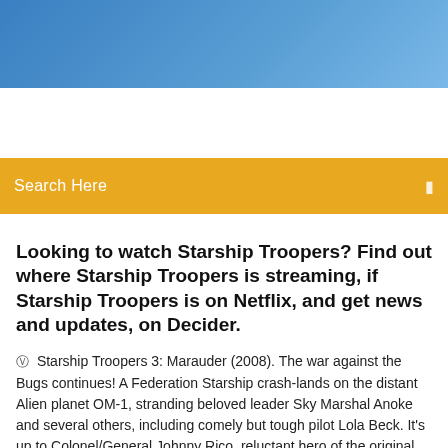[Figure (photo): Blue sky gradient header banner image]
Search Here
Looking to watch Starship Troopers? Find out where Starship Troopers is streaming, if Starship Troopers is on Netflix, and get news and updates, on Decider.
Starship Troopers 3: Marauder (2008). The war against the Bugs continues! A Federation Starship crash-lands on the distant Alien planet OM-1, stranding beloved leader Sky Marshal Anoke and several others, including comely but tough pilot Lola Beck. It's up to Colonel/General Johnny Rico, reluctant hero of the original Bug Invasion on Planet P, to lead a team of Troopers … |